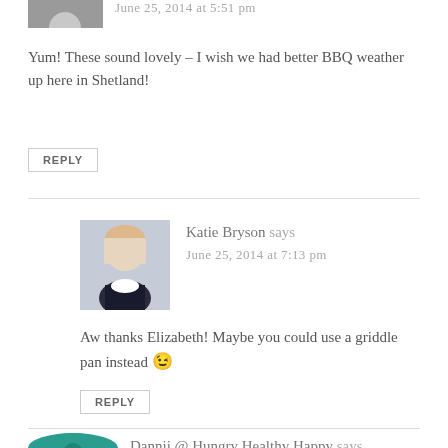June 25, 2014 at 5:51 pm
Yum! These sound lovely – I wish we had better BBQ weather up here in Shetland!
REPLY
Katie Bryson says
June 25, 2014 at 7:13 pm
Aw thanks Elizabeth! Maybe you could use a griddle pan instead 😉
REPLY
Dannii @ Hungry Healthy Happy says